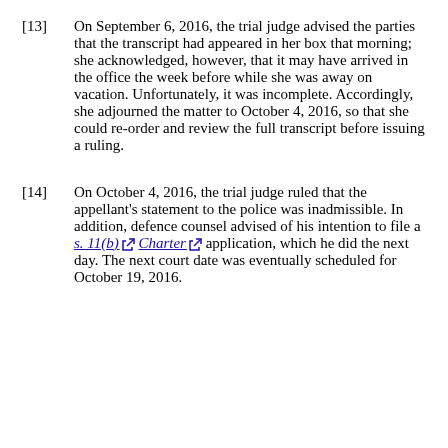[13]  On September 6, 2016, the trial judge advised the parties that the transcript had appeared in her box that morning; she acknowledged, however, that it may have arrived in the office the week before while she was away on vacation. Unfortunately, it was incomplete. Accordingly, she adjourned the matter to October 4, 2016, so that she could re-order and review the full transcript before issuing a ruling.
[14]  On October 4, 2016, the trial judge ruled that the appellant's statement to the police was inadmissible. In addition, defence counsel advised of his intention to file a s. 11(b) Charter application, which he did the next day. The next court date was eventually scheduled for October 19, 2016.